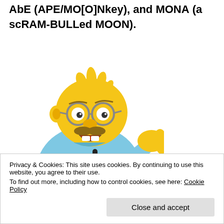AbE (APE/MO[O]Nkey), and MONA (a scRAM-BULLed MOON).
[Figure (illustration): Cartoon illustration of Grampa (Abraham) Simpson from The Simpsons, an elderly yellow-skinned man with sparse hair, round glasses, a mustache, wearing a light blue sweater, with mouth open as if talking and one hand raised.]
Privacy & Cookies: This site uses cookies. By continuing to use this website, you agree to their use.
To find out more, including how to control cookies, see here: Cookie Policy
Simpson.